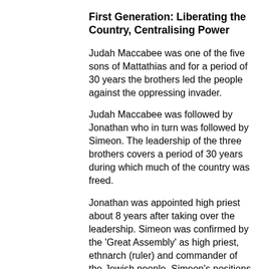First Generation: Liberating the Country, Centralising Power
Judah Maccabee was one of the five sons of Mattathias and for a period of 30 years the brothers led the people against the oppressing invader.
Judah Maccabee was followed by Jonathan who in turn was followed by Simeon. The leadership of the three brothers covers a period of 30 years during which much of the country was freed.
Jonathan was appointed high priest about 8 years after taking over the leadership. Simeon was confirmed by the 'Great Assembly' as high priest, ethnarch (ruler) and commander of the Jewish people. Simeon's positions were to be hereditary.
It seems that the family was united and that the brother who was ruling at the